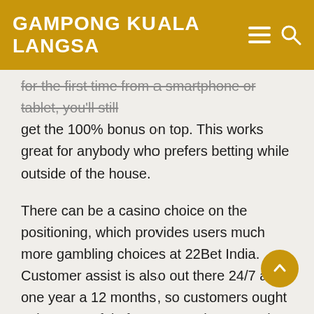GAMPONG KUALA LANGSA
for the first time from a smartphone or tablet, you'll still get the 100% bonus on top. This works great for anybody who prefers betting while outside of the house.
There can be a casino choice on the positioning, which provides users much more gambling choices at 22Bet India. Customer assist is also out there 24/7 and one year a 12 months, so customers ought to be succesful of access assist at any time of the day or night time. Users of sports betting websites in India need to feel assured they will get a fast response within the occasion they've a difficulty with their account. Customer service is out there 24 hours a day, seven days every week and three hundred and sixty 5 days a